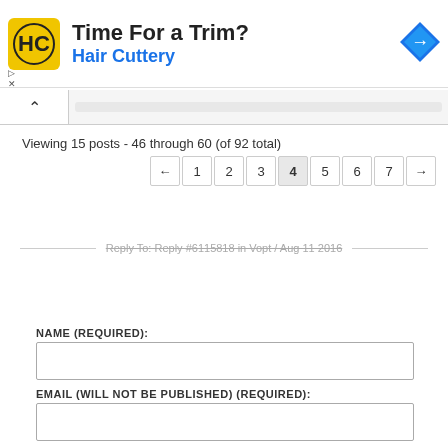[Figure (advertisement): Hair Cuttery ad banner with logo, 'Time For a Trim?' headline, and navigation arrow icon]
Viewing 15 posts - 46 through 60 (of 92 total)
← 1 2 3 4 5 6 7 →
Reply To: Reply #6115818 in Vopt / Aug 11 2016
NAME (REQUIRED):
EMAIL (WILL NOT BE PUBLISHED) (REQUIRED):